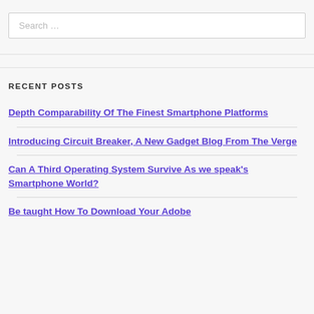Search …
RECENT POSTS
Depth Comparability Of The Finest Smartphone Platforms
Introducing Circuit Breaker, A New Gadget Blog From The Verge
Can A Third Operating System Survive As we speak's Smartphone World?
Be taught How To Download Your Adobe